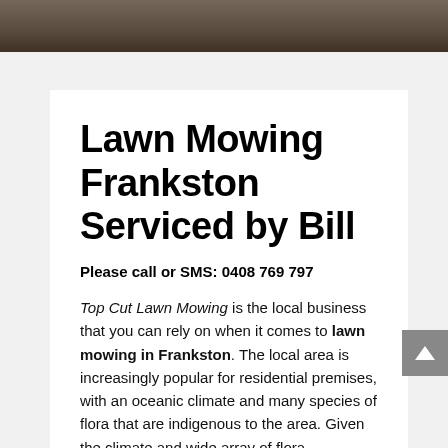[Figure (photo): Partial photo strip at top showing a lawn mower on a brick surface, cropped]
Lawn Mowing Frankston Serviced by Bill
Please call or SMS: 0408 769 797
Top Cut Lawn Mowing is the local business that you can rely on when it comes to lawn mowing in Frankston. The local area is increasingly popular for residential premises, with an oceanic climate and many species of flora that are indigenous to the area. Given the climate and wide array of flora.